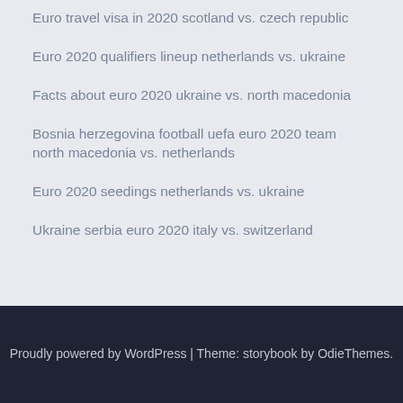Euro travel visa in 2020 scotland vs. czech republic
Euro 2020 qualifiers lineup netherlands vs. ukraine
Facts about euro 2020 ukraine vs. north macedonia
Bosnia herzegovina football uefa euro 2020 team north macedonia vs. netherlands
Euro 2020 seedings netherlands vs. ukraine
Ukraine serbia euro 2020 italy vs. switzerland
Proudly powered by WordPress | Theme: storybook by OdieThemes.